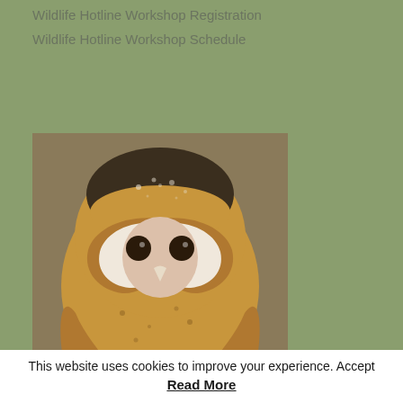Wildlife Hotline Workshop Registration
Wildlife Hotline Workshop Schedule
[Figure (photo): Close-up photograph of a barn owl facing forward, with distinctive heart-shaped white face, dark eyes, and speckled brown and golden feathers on the head and body.]
This website uses cookies to improve your experience. Accept
Read More